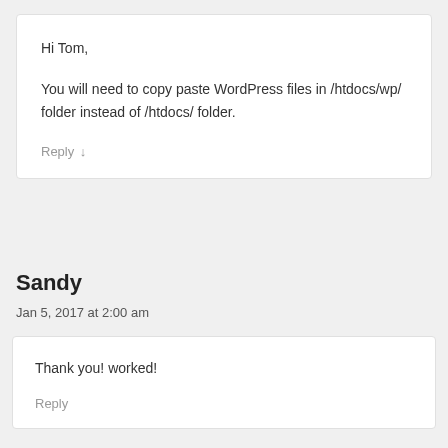Hi Tom,

You will need to copy paste WordPress files in /htdocs/wp/ folder instead of /htdocs/ folder.
Reply ↓
Sandy
Jan 5, 2017 at 2:00 am
Thank you! worked!
Reply